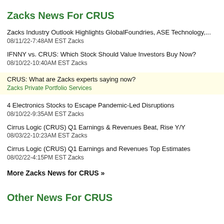Zacks News For CRUS
Zacks Industry Outlook Highlights GlobalFoundries, ASE Technology,...
08/11/22-7:48AM EST Zacks
IFNNY vs. CRUS: Which Stock Should Value Investors Buy Now?
08/10/22-10:40AM EST Zacks
CRUS: What are Zacks experts saying now?
Zacks Private Portfolio Services
4 Electronics Stocks to Escape Pandemic-Led Disruptions
08/10/22-9:35AM EST Zacks
Cirrus Logic (CRUS) Q1 Earnings & Revenues Beat, Rise Y/Y
08/03/22-10:23AM EST Zacks
Cirrus Logic (CRUS) Q1 Earnings and Revenues Top Estimates
08/02/22-4:15PM EST Zacks
More Zacks News for CRUS »
Other News For CRUS